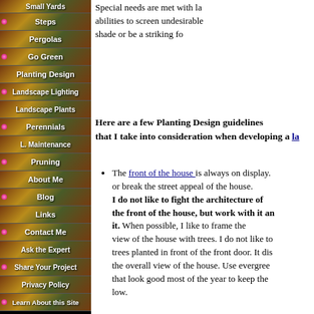Small Yards
Steps
Pergolas
Go Green
Planting Design
Landscape Lighting
Landscape Plants
Perennials
L. Maintenance
Pruning
About Me
Blog
Links
Contact Me
Ask the Expert
Share Your Project
Privacy Policy
Learn About this Site
Special needs are met with la... abilities to screen undesirable ... shade or be a striking fo...
Here are a few Planting Design guidelines that I take into consideration when developing a la...
The front of the house is always on display. or break the street appeal of the house. I do not like to fight the architecture of the front of the house, but work with it an... it. When possible, I like to frame the view of the house with trees. I do not like to trees planted in front of the front door. It dis... the overall view of the house. Use evergree... that look good most of the year to keep the ... low.